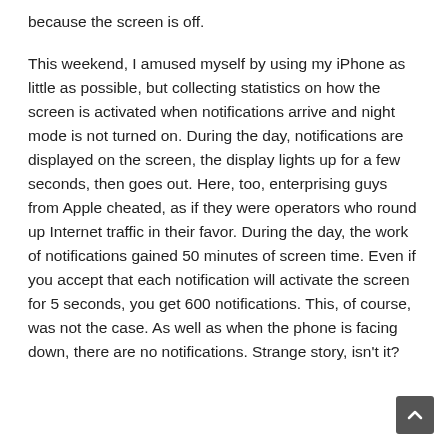because the screen is off.
This weekend, I amused myself by using my iPhone as little as possible, but collecting statistics on how the screen is activated when notifications arrive and night mode is not turned on. During the day, notifications are displayed on the screen, the display lights up for a few seconds, then goes out. Here, too, enterprising guys from Apple cheated, as if they were operators who round up Internet traffic in their favor. During the day, the work of notifications gained 50 minutes of screen time. Even if you accept that each notification will activate the screen for 5 seconds, you get 600 notifications. This, of course, was not the case. As well as when the phone is facing down, there are no notifications. Strange story, isn't it?